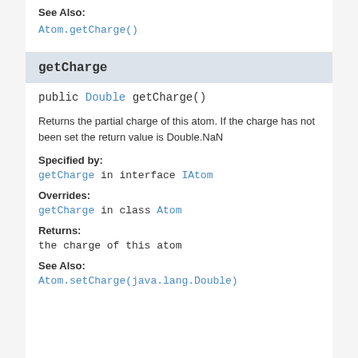See Also:
Atom.getCharge()
getCharge
public Double getCharge()
Returns the partial charge of this atom. If the charge has not been set the return value is Double.NaN
Specified by:
getCharge in interface IAtom
Overrides:
getCharge in class Atom
Returns:
the charge of this atom
See Also:
Atom.setCharge(java.lang.Double)